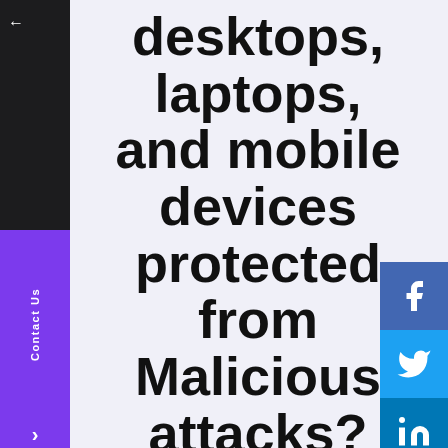desktops, laptops, and mobile devices protected from Malicious attacks?
Endpoint security solutions protect your endpoints/end-user devices like desktops, lapt mobile. on a network or in the cloud from cybersecurity threats.